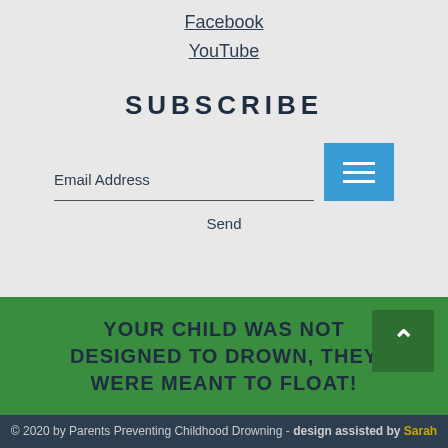Facebook
YouTube
SUBSCRIBE
Email Address
Send
YOUR CHILD WAS NOT DESIGNED TO DROWN, THEY WERE MEANT TO FLOAT!
© 2020 by Parents Preventing Childhood Drowning - design assisted by Sarah